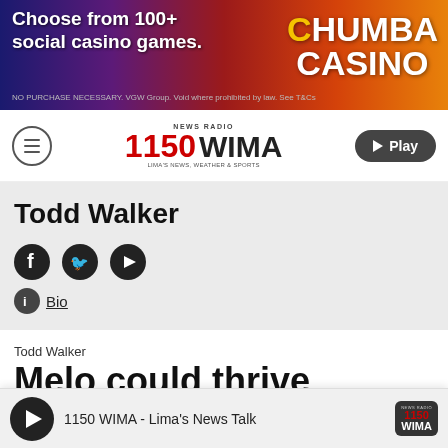[Figure (other): Chumba Casino advertisement banner - Choose from 100+ social casino games]
NEWS RADIO 1150 WIMA - Lima's News, Weather & Sports
Todd Walker
[Figure (other): Social media icons: Facebook, Twitter, YouTube and Bio link]
Todd Walker
Melo could thrive alongside
1150 WIMA - Lima's News Talk